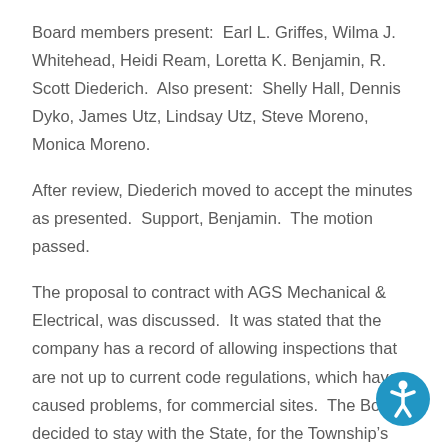Board members present:  Earl L. Griffes, Wilma J. Whitehead, Heidi Ream, Loretta K. Benjamin, R. Scott Diederich.  Also present:  Shelly Hall, Dennis Dyko, James Utz, Lindsay Utz, Steve Moreno, Monica Moreno.
After review, Diederich moved to accept the minutes as presented.  Support, Benjamin.  The motion passed.
The proposal to contract with AGS Mechanical & Electrical, was discussed.  It was stated that the company has a record of allowing inspections that are not up to current code regulations, which have caused problems, for commercial sites.  The Board decided to stay with the State, for the Township's electrical and mechanical inspections, at this time.
[Figure (illustration): Accessibility icon: circular blue badge with white stick figure (person with arms outstretched)]